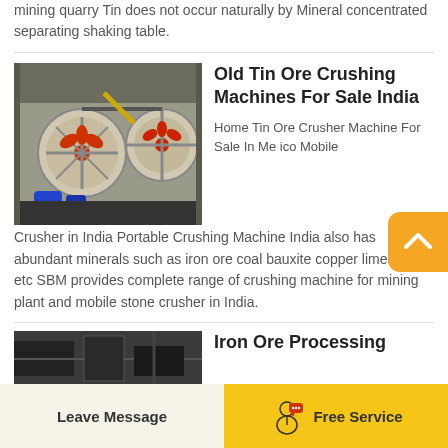mining quarry Tin does not occur naturally by Mineral concentrated separating shaking table.
[Figure (photo): Industrial tin ore crushing machine with large circular flywheels and blue motors in a workshop/industrial setting]
Old Tin Ore Crushing Machines For Sale India
Home Tin Ore Crusher Machine For Sale In Me ico Mobile Crusher in India Portable Crushing Machine India also has abundant minerals such as iron ore coal bauxite copper limestone etc SBM provides complete range of crushing machine for mining plant and mobile stone crusher in India.
Iron Ore Processing
[Figure (photo): Partial view of industrial iron ore processing equipment, dark machinery]
Leave Message
Free Service